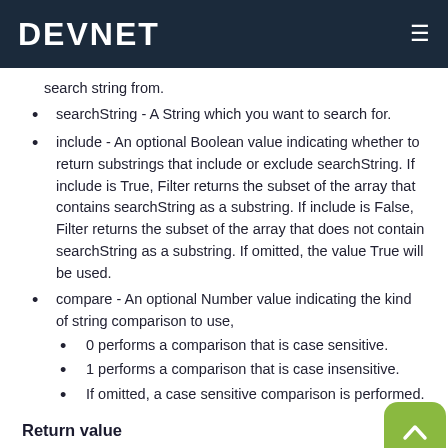DEVNET
search string from.
searchString - A String which you want to search for.
include - An optional Boolean value indicating whether to return substrings that include or exclude searchString. If include is True, Filter returns the subset of the array that contains searchString as a substring. If include is False, Filter returns the subset of the array that does not contain searchString as a substring. If omitted, the value True will be used.
compare - An optional Number value indicating the kind of string comparison to use,
0 performs a comparison that is case sensitive.
1 performs a comparison that is case insensitive.
If omitted, a case sensitive comparison is performed.
Return value